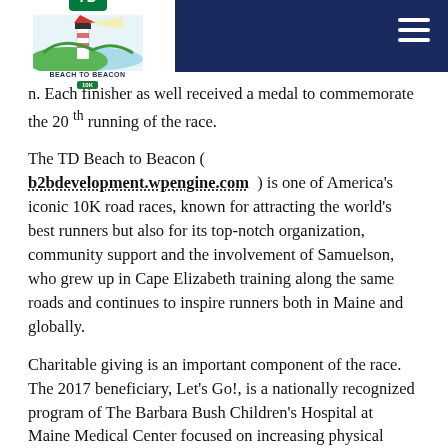TD Beach to Beacon 10K — navigation header with logo and hamburger menu
n. Each finisher as well received a medal to commemorate the 20th running of the race.
The TD Beach to Beacon ( b2bdevelopment.wpengine.com ) is one of America's iconic 10K road races, known for attracting the world's best runners but also for its top-notch organization, community support and the involvement of Samuelson, who grew up in Cape Elizabeth training along the same roads and continues to inspire runners both in Maine and globally.
Charitable giving is an important component of the race. The 2017 beneficiary, Let's Go!, is a nationally recognized program of The Barbara Bush Children's Hospital at Maine Medical Center focused on increasing physical activity and healthy eating for children from birth to age 18. Let's Go! ( www.letsgo.org ) received a $30,000 donation from